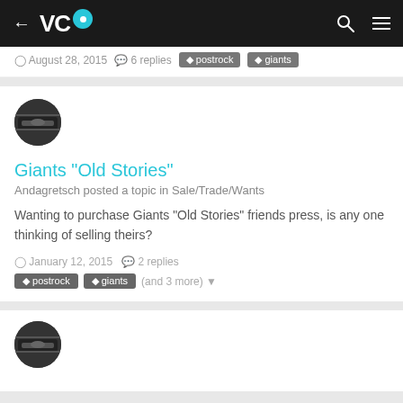VC [logo] navigation bar with back arrow, search, and menu icons
August 28, 2015   6 replies   postrock   giants
[Figure (photo): Circular avatar photo showing a close-up of a musical instrument (guitar/bass)]
Giants "Old Stories"
Andagretsch posted a topic in Sale/Trade/Wants
Wanting to purchase Giants "Old Stories" friends press, is any one thinking of selling theirs?
January 12, 2015   2 replies
postrock   giants   (and 3 more)
[Figure (photo): Circular avatar photo showing a close-up of a musical instrument (guitar/bass)]